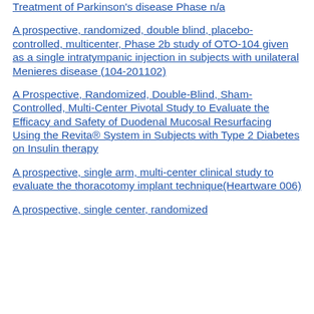Treatment of Parkinson's disease Phase n/a
A prospective, randomized, double blind, placebo-controlled, multicenter, Phase 2b study of OTO-104 given as a single intratympanic injection in subjects with unilateral Menieres disease (104-201102)
A Prospective, Randomized, Double-Blind, Sham- Controlled, Multi-Center Pivotal Study to Evaluate the Efficacy and Safety of Duodenal Mucosal Resurfacing Using the Revita® System in Subjects with Type 2 Diabetes on Insulin therapy
A prospective, single arm, multi-center clinical study to evaluate the thoracotomy implant technique(Heartware 006)
A prospective, single center, randomized